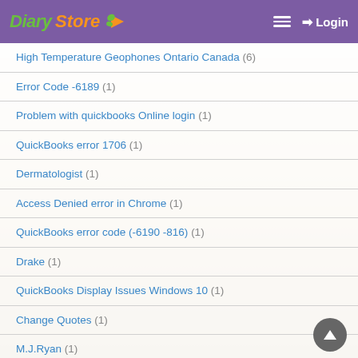Diary Store — Login
High Temperature Geophones Ontario Canada (6)
Error Code -6189 (1)
Problem with quickbooks Online login (1)
QuickBooks error 1706 (1)
Dermatologist (1)
Access Denied error in Chrome (1)
QuickBooks error code (-6190 -816) (1)
Drake (1)
QuickBooks Display Issues Windows 10 (1)
Change Quotes (1)
M.J.Ryan (1)
Cannot restore QuickBooks Error 6129 (2)